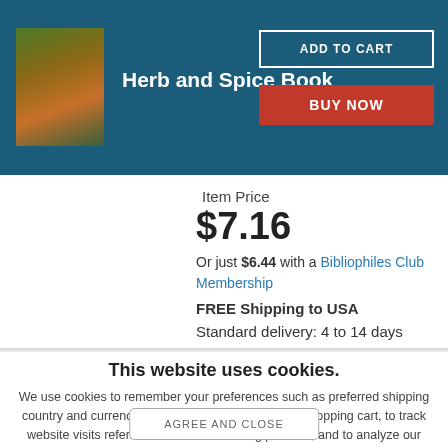[Figure (illustration): Book cover thumbnail for Herb and Spice Book showing herbs and spices imagery]
Herb and Spice Book
ADD TO CART
BUY NOW
Item Price
$7.16
Or just $6.44 with a Bibliophiles Club Membership
FREE Shipping to USA Standard delivery: 4 to 14 days
This website uses cookies.
We use cookies to remember your preferences such as preferred shipping country and currency, to save items placed in your shopping cart, to track website visits referred from our advertising partners, and to analyze our website traffic. Manage your privacy settings.
AGREE AND CLOSE